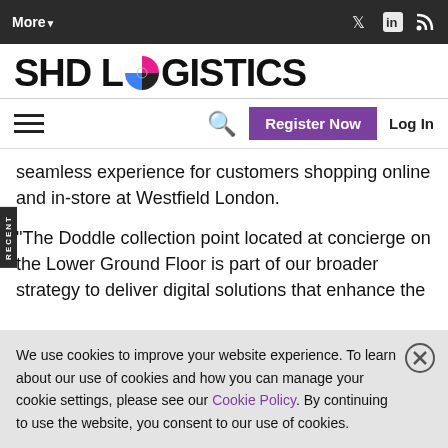More▼  [Twitter] [LinkedIn] [RSS]
[Figure (logo): SHD Logistics logo with colorful compass/globe icon between 'SHD L' and 'GISTICS']
seamless experience for customers shopping online and in-store at Westfield London.
"The Doddle collection point located at concierge on the Lower Ground Floor is part of our broader strategy to deliver digital solutions that enhance the
We use cookies to improve your website experience. To learn about our use of cookies and how you can manage your cookie settings, please see our Cookie Policy. By continuing to use the website, you consent to our use of cookies.